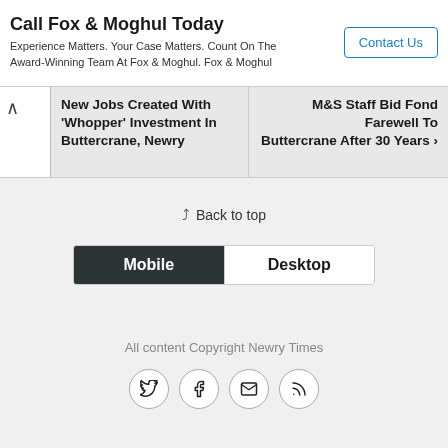Call Fox & Moghul Today
Experience Matters. Your Case Matters. Count On The Award-Winning Team At Fox & Moghul. Fox & Moghul
Contact Us
New Jobs Created With 'Whopper' Investment In Buttercrane, Newry
M&S Staff Bid Fond Farewell To Buttercrane After 30 Years
Back to top
Mobile
Desktop
All content Copyright Newry Times